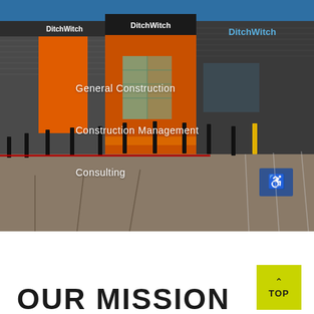[Figure (photo): Exterior photo of a Ditch Witch commercial building with orange and dark grey facade, black bollards, parking lot in foreground. White text overlays reading 'General Construction', 'Construction Management', and 'Consulting'.]
General Construction
Construction Management
Consulting
OUR MISSION